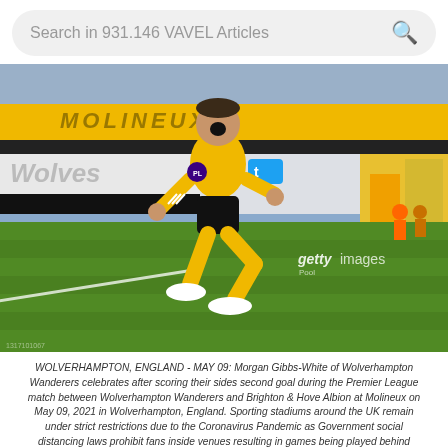Search in 931.146 VAVEL Articles
[Figure (photo): Morgan Gibbs-White of Wolverhampton Wanderers celebrating after scoring a goal at Molineux stadium, wearing gold and black kit, running on pitch with arms raised and mouth open, empty stadium in background with Wolves branding. Getty Images / Pool watermark visible.]
WOLVERHAMPTON, ENGLAND - MAY 09: Morgan Gibbs-White of Wolverhampton Wanderers celebrates after scoring their sides second goal during the Premier League match between Wolverhampton Wanderers and Brighton & Hove Albion at Molineux on May 09, 2021 in Wolverhampton, England. Sporting stadiums around the UK remain under strict restrictions due to the Coronavirus Pandemic as Government social distancing laws prohibit fans inside venues resulting in games being played behind closed doors. (Photo by Tim Keeton - Pool/Getty Images)